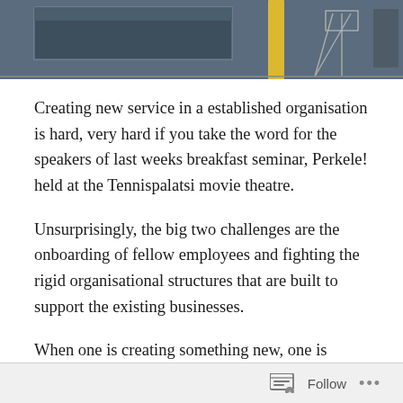[Figure (photo): Partial photograph of what appears to be an indoor venue or exhibition space, showing equipment, stands, and a yellow element against a dark background.]
Creating new service in a established organisation is hard, very hard if you take the word for the speakers of last weeks breakfast seminar, Perkele! held at the Tennispalatsi movie theatre.
Unsurprisingly, the big two challenges are the onboarding of fellow employees and fighting the rigid organisational structures that are built to support the existing businesses.
When one is creating something new, one is bound to step on somebody's toes, bend the rules, or work on the gray area, which all are likely to cause friction in the organisation. According to a speaker, the best indicator
Follow ...